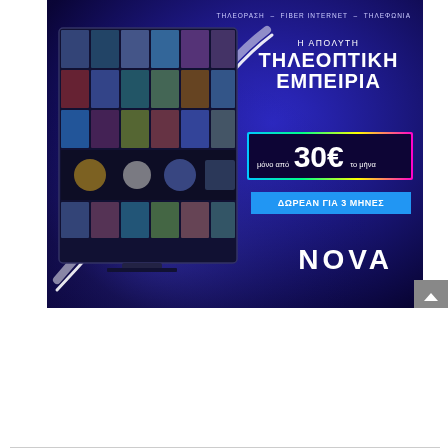[Figure (illustration): Nova TV advertisement banner on dark blue/purple gradient background. Left side shows a TV screen displaying a movie/series grid with multiple film posters. Right side has Greek text: 'Η ΑΠΟΛΥΤΗ ΤΗΛΕΟΠΤΙΚΗ ΕΜΠΕΙΡΙΑ' (The Ultimate TV Experience), a price box '30€ to μήνα' (per month), a blue button 'ΔΩΡΕΑΝ ΓΙΑ 3 ΜΗΝΕΣ' (Free for 3 months), and the NOVA logo. Top has subtitle 'ΤΗΛΕΟΡΑΣΗ - FIBER INTERNET - ΤΗΛΕΦΩΝΙΑ'. A white glowing swoosh arc overlays left side. Bottom-right has a gray scroll-to-top button.]